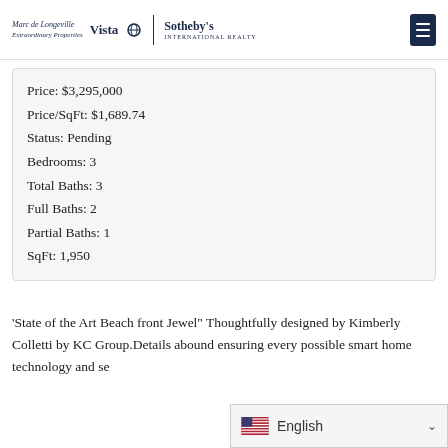Marc de Longeville Extraordinary Properties Vista Sotheby's International Realty
| Price: $3,295,000 |
| Price/SqFt: $1,689.74 |
| Status: Pending |
| Bedrooms: 3 |
| Total Baths: 3 |
| Full Baths: 2 |
| Partial Baths: 1 |
| SqFt: 1,950 |
'State of the Art Beach front Jewel" Thoughtfully designed by Kimberly Colletti by KC Group.Details abound ensuring every possible... smart home technology and se...